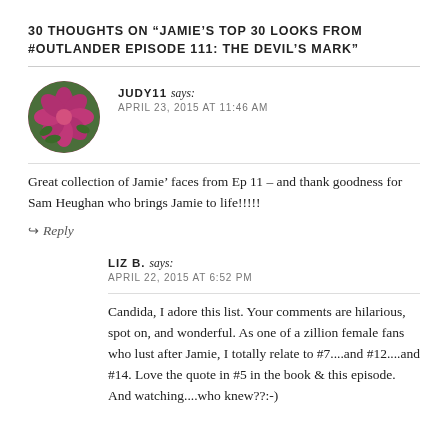30 THOUGHTS ON "JAMIE'S TOP 30 LOOKS FROM #OUTLANDER EPISODE 111: THE DEVIL'S MARK"
JUDY11 says:
APRIL 23, 2015 AT 11:46 AM
Great collection of Jamie’ faces from Ep 11 – and thank goodness for Sam Heughan who brings Jamie to life!!!!!
Reply
LIZ B. says:
APRIL 22, 2015 AT 6:52 PM
Candida, I adore this list. Your comments are hilarious, spot on, and wonderful. As one of a zillion female fans who lust after Jamie, I totally relate to #7....and #12....and #14. Love the quote in #5 in the book & this episode. And watching....who knew??:-)